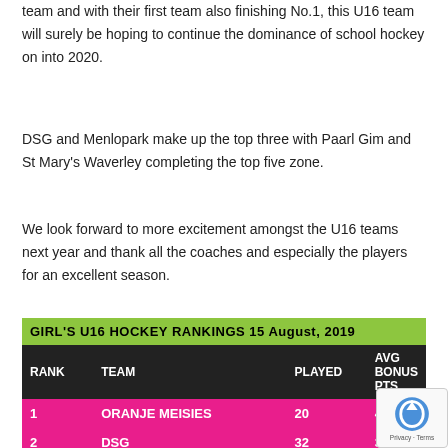team and with their first team also finishing No.1, this U16 team will surely be hoping to continue the dominance of school hockey on into 2020.
DSG and Menlopark make up the top three with Paarl Gim and St Mary's Waverley completing the top five zone.
We look forward to more excitement amongst the U16 teams next year and thank all the coaches and especially the players for an excellent season.
| RANK | TEAM | PLAYED | AVG BONUS PTS |
| --- | --- | --- | --- |
| 1 | ORANJE MEISIES | 20 | 4.02 |
| 2 | DSG | 32 | 3.90 |
| 3 | MENLOPARK | 28 | 3.75 |
| 4 | PAARL GIM | 30 | 3.71 |